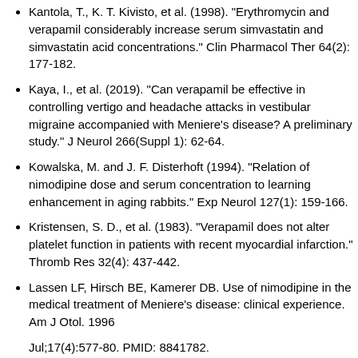Kantola, T., K. T. Kivisto, et al. (1998). "Erythromycin and verapamil considerably increase serum simvastatin and simvastatin acid concentrations." Clin Pharmacol Ther 64(2): 177-182.
Kaya, I., et al. (2019). "Can verapamil be effective in controlling vertigo and headache attacks in vestibular migraine accompanied with Meniere's disease? A preliminary study." J Neurol 266(Suppl 1): 62-64.
Kowalska, M. and J. F. Disterhoft (1994). "Relation of nimodipine dose and serum concentration to learning enhancement in aging rabbits." Exp Neurol 127(1): 159-166.
Kristensen, S. D., et al. (1983). "Verapamil does not alter platelet function in patients with recent myocardial infarction." Thromb Res 32(4): 437-442.
Lassen LF, Hirsch BE, Kamerer DB. Use of nimodipine in the medical treatment of Meniere's disease: clinical experience. Am J Otol. 1996 Jul;17(4):577-80. PMID: 8841782.